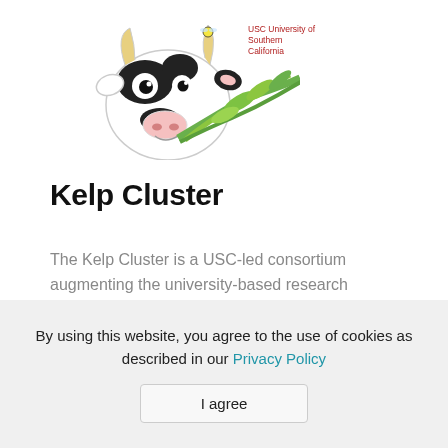[Figure (illustration): Cartoon cow head with green kelp/plant coming from mouth, with USC University of Southern California logo text to the upper right]
Kelp Cluster
The Kelp Cluster is a USC-led consortium augmenting the university-based research activity currently underway at AltaSea. Developing groundbreaking research on
By using this website, you agree to the use of cookies as described in our Privacy Policy
I agree